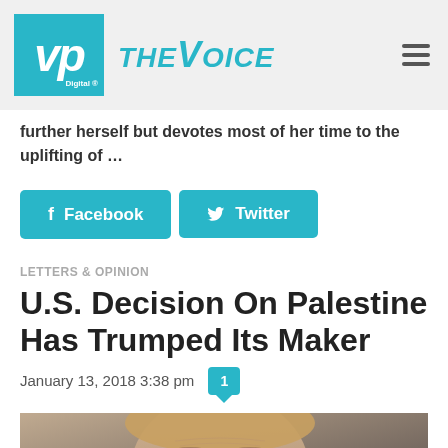VP Digital THE VOICE
further herself but devotes most of her time to the uplifting of …
[Figure (other): Facebook share button]
[Figure (other): Twitter share button]
LETTERS & OPINION
U.S. Decision On Palestine Has Trumped Its Maker
January 13, 2018 3:38 pm
[Figure (photo): Close-up photo of a person's face (appears to be an older blonde-haired individual)]